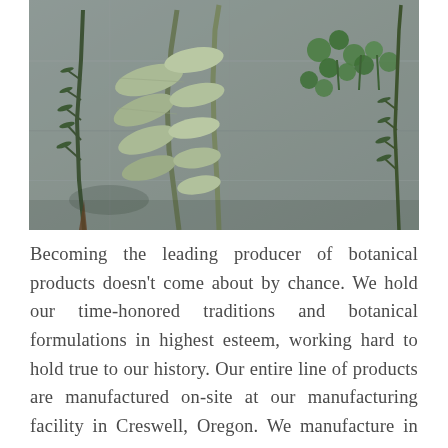[Figure (photo): Overhead photograph of fresh herbs including rosemary, sage, and other botanicals arranged on a gray stone surface]
Becoming the leading producer of botanical products doesn't come about by chance. We hold our time-honored traditions and botanical formulations in highest esteem, working hard to hold true to our history. Our entire line of products are manufactured on-site at our manufacturing facility in Creswell, Oregon. We manufacture in small batches to ensure high concentrations, promote superior quality and assure potency and high shelf life. We hand select each botanical ingredient so we can ensure exactly